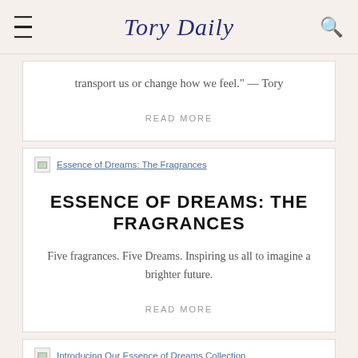Tory Daily
transport us or change how we feel." — Tory
READ MORE
Essence of Dreams: The Fragrances
ESSENCE OF DREAMS: THE FRAGRANCES
Five fragrances. Five Dreams. Inspiring us all to imagine a brighter future.
READ MORE
Introducing Our Essence of Dreams Collection
INTRODUCING OUR ESSENCE OF DREAMS COLLECTION
Our new fragrance collection celebrates the power of dreams.